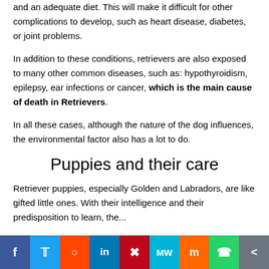and an adequate diet. This will make it difficult for other complications to develop, such as heart disease, diabetes, or joint problems.
In addition to these conditions, retrievers are also exposed to many other common diseases, such as: hypothyroidism, epilepsy, ear infections or cancer, which is the main cause of death in Retrievers.
In all these cases, although the nature of the dog influences, the environmental factor also has a lot to do.
Puppies and their care
Retriever puppies, especially Golden and Labradors, are like gifted little ones. With their intelligence and their predisposition to learn, the...